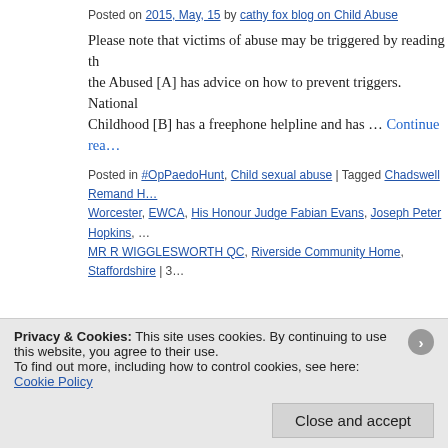Posted on 2015, May, 15 by cathy fox blog on Child Abuse
Please note that victims of abuse may be triggered by reading th… the Abused [A] has advice on how to prevent triggers.  National… Childhood [B] has a freephone helpline and has … Continue rea…
Posted in #OpPaedoHunt, Child sexual abuse | Tagged Chadswell Remand H… Worcester, EWCA, His Honour Judge Fabian Evans, Joseph Peter Hopkins, … MR R WIGGLESWORTH QC, Riverside Community Home, Staffordshire | 3…
COURT OF APPEAL 23rd January 2004 J…
Posted on 2015, May, 15 by cathy fox blog on Child Abuse
Please note that victims of abuse may be triggered by reading th… the Abused [A] has advice on how to prevent triggers.  National…
Privacy & Cookies: This site uses cookies. By continuing to use this website, you agree to their use.
To find out more, including how to control cookies, see here: Cookie Policy